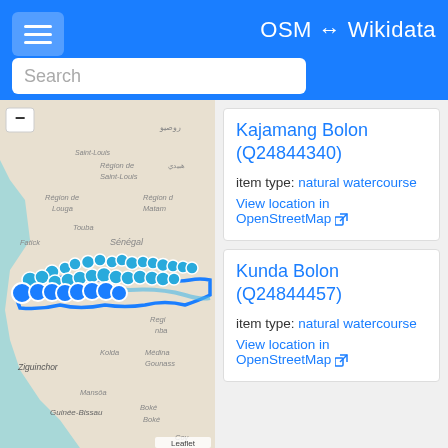OSM ↔ Wikidata
Search
[Figure (map): Map showing Senegal, Gambia, Guinea-Bissau region with blue marker pins clustered along the Gambia River. Shows regions: Région de Saint-Louis, Région de Louga, Région de Matam, Sénégal, Fatick, Touba, Gambia, Kolda, Médina Gounass, Ziguinchor, Mansôa, Guinée-Bissau, Boké, Coy. Map by Leaflet.]
Kajamang Bolon (Q24844340)
item type: natural watercourse
View location in OpenStreetMap
Kunda Bolon (Q24844457)
item type: natural watercourse
View location in OpenStreetMap